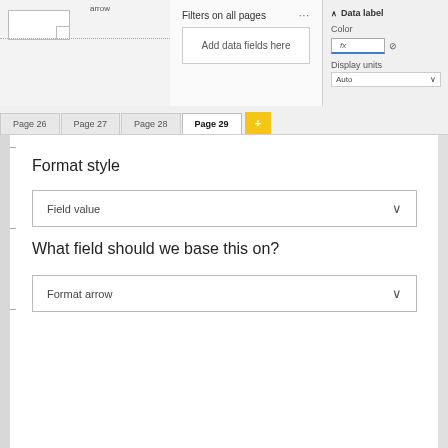[Figure (screenshot): Top portion of a Power BI interface showing a canvas with an arrow element, a Filters panel with 'Add data fields here' placeholder, and a Data label formatting panel with Color, fx, pencil icon, Display units set to Auto.]
Filters on all pages
Add data fields here
Data label
Color
Display units
Auto
Page 26
Page 27
Page 28
Page 29
Format style
Field value
What field should we base this on?
Format arrow